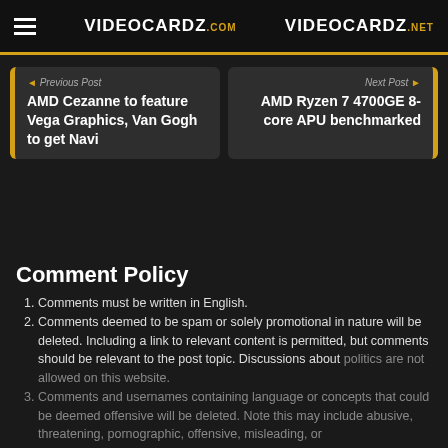VIDEOCARDZ.com  VIDEOCARDZ.net
◄ Previous Post
AMD Cezanne to feature Vega Graphics, Van Gogh to get Navi
Next Post ►
AMD Ryzen 7 4700GE 8-core APU benchmarked
Comment Policy
Comments must be written in English.
Comments deemed to be spam or solely promotional in nature will be deleted. Including a link to relevant content is permitted, but comments should be relevant to the post topic. Discussions about politics are not allowed on this website.
Comments and usernames containing language or concepts that could be deemed offensive will be deleted. Note this may include abusive, threatening, pornographic, offensive, misleading, or